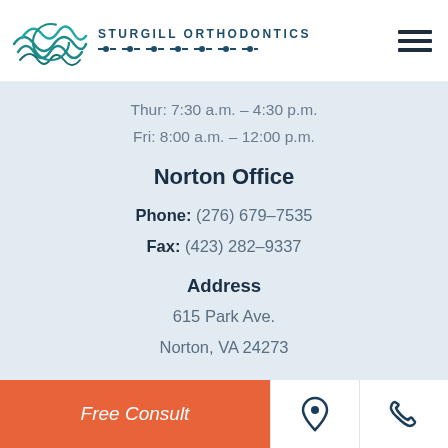[Figure (logo): Sturgill Orthodontics logo with teal wave/arc graphic and text 'STURGILL ORTHODONTICS' with dotted line underneath]
Thur: 7:30 a.m. – 4:30 p.m.
Fri: 8:00 a.m. – 12:00 p.m.
Norton Office
Phone: (276) 679-7535
Fax: (423) 282-9337
Address
615 Park Ave.
Norton, VA 24273
Hours
Free Consult